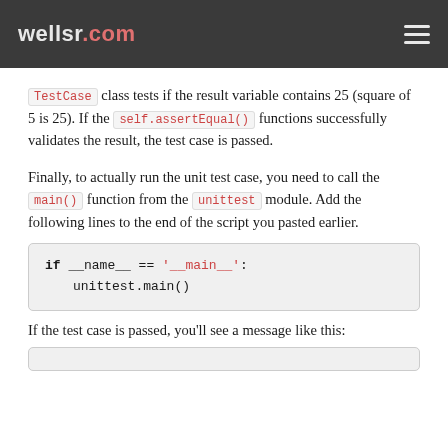wellsr.com
TestCase class tests if the result variable contains 25 (square of 5 is 25). If the self.assertEqual() functions successfully validates the result, the test case is passed.
Finally, to actually run the unit test case, you need to call the main() function from the unittest module. Add the following lines to the end of the script you pasted earlier.
[Figure (screenshot): Code block showing: if __name__ == '__main__': followed by unittest.main()]
If the test case is passed, you'll see a message like this:
[Figure (screenshot): Partial code/output block at bottom of page]